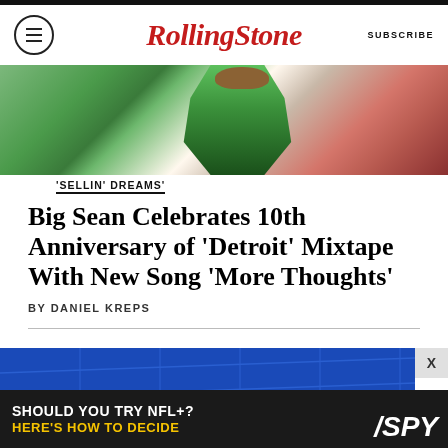Rolling Stone — SUBSCRIBE
[Figure (photo): Performer on stage wearing green fringe/sequin costume with red background lighting]
'SELLIN' DREAMS'
Big Sean Celebrates 10th Anniversary of 'Detroit' Mixtape With New Song 'More Thoughts'
BY DANIEL KREPS
[Figure (photo): Blue tiled wall background with a hand visible at the bottom of the frame]
[Figure (screenshot): Advertisement banner: SHOULD YOU TRY NFL+? HERE'S HOW TO DECIDE — SPY logo]